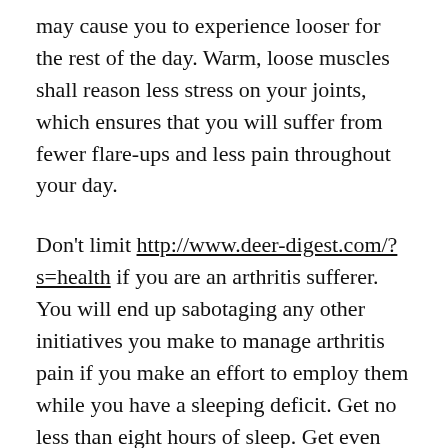may cause you to experience looser for the rest of the day. Warm, loose muscles shall reason less stress on your joints, which ensures that you will suffer from fewer flare-ups and less pain throughout your day.
Don't limit http://www.deer-digest.com/?s=health if you are an arthritis sufferer. You will end up sabotaging any other initiatives you make to manage arthritis pain if you make an effort to employ them while you have a sleeping deficit. Get no less than eight hours of sleep. Get even more if your day was particularly stressful. Your body's own healing powers improve substantially with good sleep.
Smoking cigarettes can cause a decrease in overall